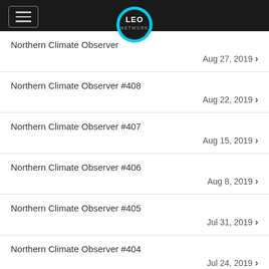LEO NETWORK
Northern Climate Observer #408 — Aug 22, 2019
Northern Climate Observer #407 — Aug 15, 2019
Northern Climate Observer #406 — Aug 8, 2019
Northern Climate Observer #405 — Jul 31, 2019
Northern Climate Observer #404 — Jul 24, 2019
Northern Climate Observer #403 — Jul 15, 2019